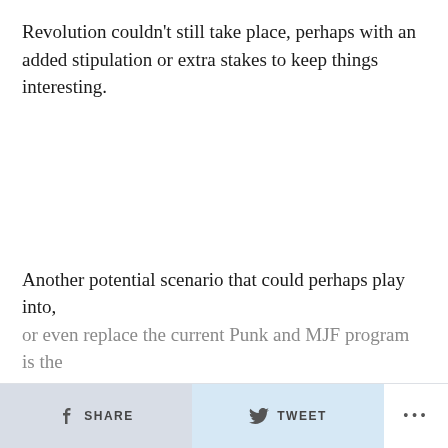Revolution couldn't still take place, perhaps with an added stipulation or extra stakes to keep things interesting.
Another potential scenario that could perhaps play into, or even replace the current Punk and MJF program is the
SHARE   TWEET   ...